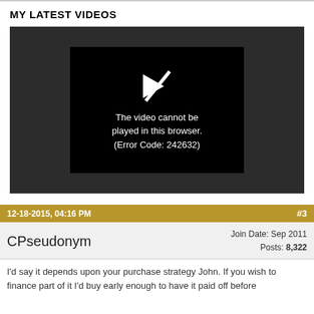MY LATEST VIDEOS
[Figure (screenshot): Video player showing error message: 'The video cannot be played in this browser. (Error Code: 242632)']
12-18-2015, 04:16 PM	#3
CPseudonym	Join Date: Sep 2011	Posts: 8,322
I'd say it depends upon your purchase strategy John. If you wish to finance part of it I'd buy early enough to have it paid off before